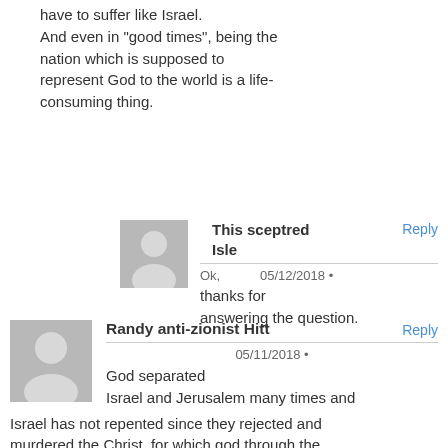have to suffer like Israel. And even in "good times", being the nation which is supposed to represent God to the world is a life-consuming thing.
This sceptred Isle
Reply
Ok,   05/12/2018 • thanks for answering the question.
Randy anti-zionist Hitt
Reply
05/11/2018 •
God separated Israel and Jerusalem many times and Israel has not repented since they rejected and murdered the Christ, for which god through the Romans completely destroyed Jerusalem in 70 AD